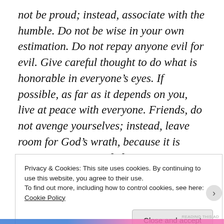not be proud; instead, associate with the humble. Do not be wise in your own estimation. Do not repay anyone evil for evil. Give careful thought to do what is honorable in everyone's eyes. If possible, as far as it depends on you, live at peace with everyone. Friends, do not avenge yourselves; instead, leave room for God's wrath, because it is written, Vengeance belongs to me; I will repay, says the Lord. But
Privacy & Cookies: This site uses cookies. By continuing to use this website, you agree to their use.
To find out more, including how to control cookies, see here:
Cookie Policy
Close and accept